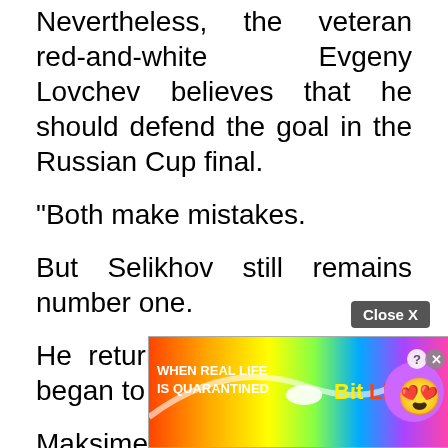Nevertheless, the veteran red-and-white Evgeny Lovchev believes that he should defend the goal in the Russian Cup final.
“Both make mistakes.
But Selikhov still remains number one.
He returned from injury and began to help out.
Maksimenko even somehow got bored.
In general, they are about the same level.
There are problems with the school: they can start up “chiffches”.
But I he out in this
[Figure (screenshot): Advertisement overlay: BitLife game ad with rainbow background, text 'WHEN REAL LIFE IS QUARANTINED', BitLife logo, and emoji star face. Close X button and help/close icons visible.]